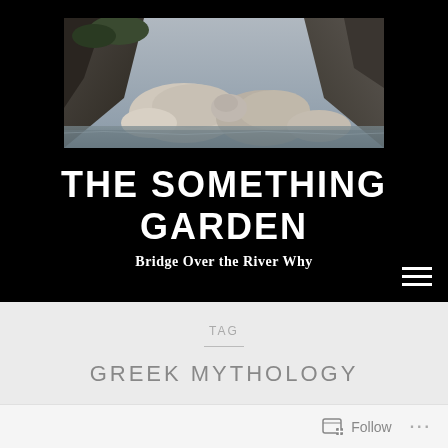[Figure (photo): Landscape photo of a rocky canyon river scene with large boulders and cliff walls]
THE SOMETHING GARDEN
Bridge Over the River Why
TAG
GREEK MYTHOLOGY
Follow ...